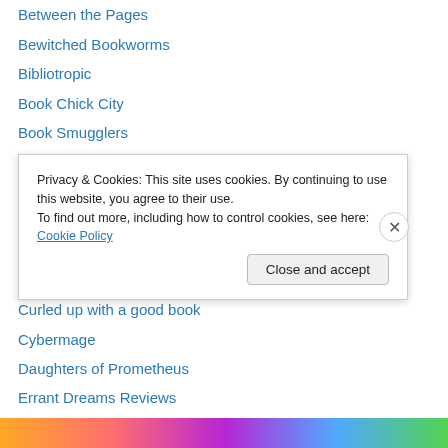Between the Pages
Bewitched Bookworms
Bibliotropic
Book Chick City
Book Smugglers
Booked on a Feeling
Booking through Thursday
Books, Bones & Buffy
Calico In Transition
Chris's Invincible Super-Blog
Curled up with a good book
Cybermage
Daughters of Prometheus
Errant Dreams Reviews
Privacy & Cookies: This site uses cookies. By continuing to use this website, you agree to their use.
To find out more, including how to control cookies, see here: Cookie Policy
Close and accept